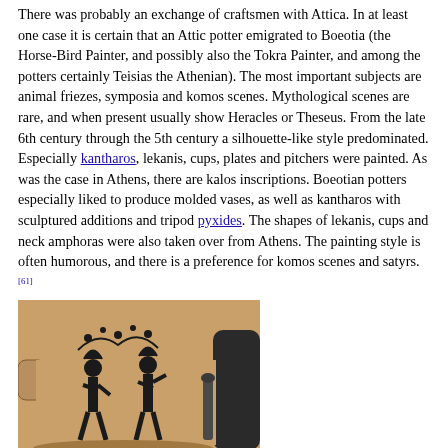There was probably an exchange of craftsmen with Attica. In at least one case it is certain that an Attic potter emigrated to Boeotia (the Horse-Bird Painter, and possibly also the Tokra Painter, and among the potters certainly Teisias the Athenian). The most important subjects are animal friezes, symposia and komos scenes. Mythological scenes are rare, and when present usually show Heracles or Theseus. From the late 6th century through the 5th century a silhouette-like style predominated. Especially kantharos, lekanis, cups, plates and pitchers were painted. As was the case in Athens, there are kalos inscriptions. Boeotian potters especially liked to produce molded vases, as well as kantharos with sculptured additions and tripod pyxides. The shapes of lekanis, cups and neck amphoras were also taken over from Athens. The painting style is often humorous, and there is a preference for komos scenes and satyrs.[61]
[Figure (photo): A Boeotian black-figure pottery vessel (kantharos or similar) with painted figures of two people in silhouette style on a terracotta background, displayed in a museum setting.]